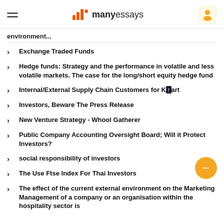manyessays
environment...
Exchange Traded Funds
Hedge funds: Strategy and the performance in volatile and less volatile markets. The case for the long/short equity hedge fund
Internal/External Supply Chain Customers for Kmart
Investors, Beware The Press Release
New Venture Strategy - Whool Gatherer
Public Company Accounting Oversight Board; Will it Protect Investors?
social responsibility of investors
The Use Ftse Index For Thai Investors
The effect of the current external environment on the Marketing Management of a company or an organisation within the hospitality sector is...